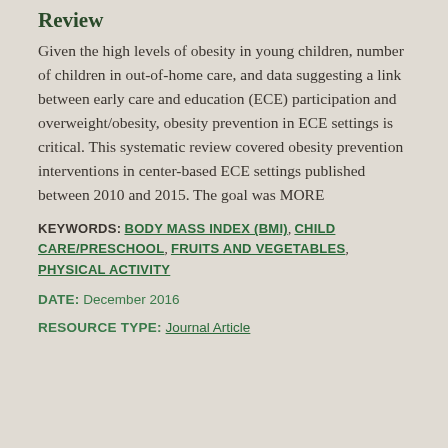Review
Given the high levels of obesity in young children, number of children in out-of-home care, and data suggesting a link between early care and education (ECE) participation and overweight/obesity, obesity prevention in ECE settings is critical. This systematic review covered obesity prevention interventions in center-based ECE settings published between 2010 and 2015. The goal was MORE
KEYWORDS: BODY MASS INDEX (BMI), CHILD CARE/PRESCHOOL, FRUITS AND VEGETABLES, PHYSICAL ACTIVITY
DATE: December 2016
RESOURCE TYPE: Journal Article